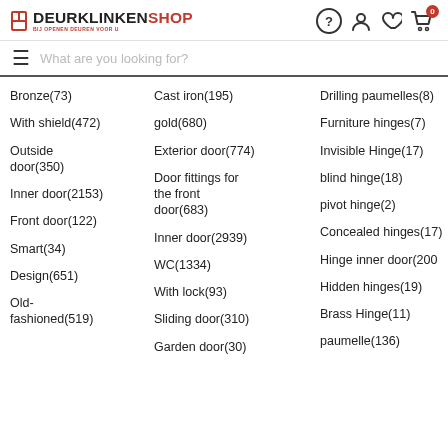DEURKLINKENSHOP — BIJ OPENEN DEUREN VOOR U
Bronze(73)
With shield(472)
Outside door(350)
Inner door(2153)
Front door(122)
Smart(34)
Design(651)
Old-fashioned(519)
Cast iron(195)
gold(680)
Exterior door(774)
Door fittings for the front door(683)
Inner door(2939)
WC(1334)
With lock(93)
Sliding door(310)
Garden door(30)
Drilling paumelles(8)
Furniture hinges(7)
Invisible Hinge(17)
blind hinge(18)
pivot hinge(2)
Concealed hinges(17)
Hinge inner door(200)
Hidden hinges(19)
Brass Hinge(11)
paumelle(136)